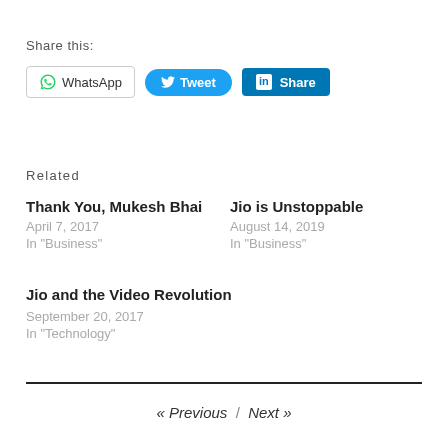Share this:
[Figure (other): Social share buttons: WhatsApp, Tweet, LinkedIn Share]
Related
Thank You, Mukesh Bhai
April 7, 2017
In "Business"
Jio is Unstoppable
August 14, 2019
In "Business"
Jio and the Video Revolution
September 20, 2017
In "Technology"
« Previous / Next »